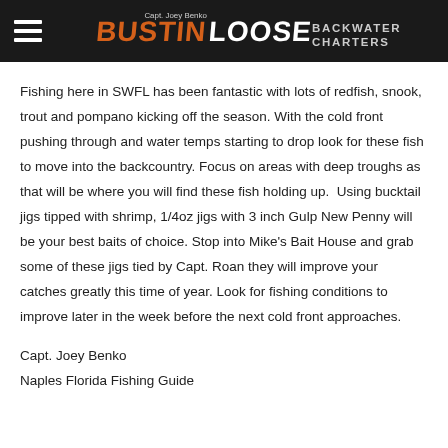Bustin Loose Backwater Charters
Fishing here in SWFL has been fantastic with lots of redfish, snook, trout and pompano kicking off the season. With the cold front pushing through and water temps starting to drop look for these fish to move into the backcountry. Focus on areas with deep troughs as that will be where you will find these fish holding up.  Using bucktail jigs tipped with shrimp, 1/4oz jigs with 3 inch Gulp New Penny will be your best baits of choice. Stop into Mike's Bait House and grab some of these jigs tied by Capt. Roan they will improve your catches greatly this time of year. Look for fishing conditions to improve later in the week before the next cold front approaches.
Capt. Joey Benko
Naples Florida Fishing Guide